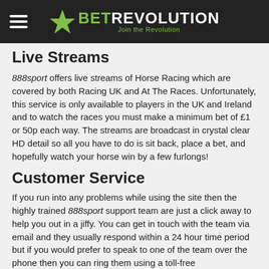BET REVOLUTION — Join the Revolution
Live Streams
888sport offers live streams of Horse Racing which are covered by both Racing UK and At The Races. Unfortunately, this service is only available to players in the UK and Ireland and to watch the races you must make a minimum bet of £1 or 50p each way. The streams are broadcast in crystal clear HD detail so all you have to do is sit back, place a bet, and hopefully watch your horse win by a few furlongs!
Customer Service
If you run into any problems while using the site then the highly trained 888sport support team are just a click away to help you out in a jiffy. You can get in touch with the team via email and they usually respond within a 24 hour time period but if you would prefer to speak to one of the team over the phone then you can ring them using a toll-free